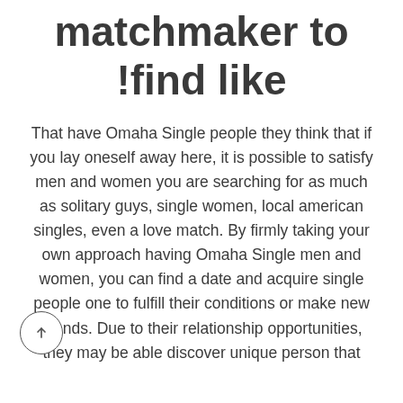matchmaker to !find like
That have Omaha Single people they think that if you lay oneself away here, it is possible to satisfy men and women you are searching for as much as solitary guys, single women, local american singles, even a love match. By firmly taking your own approach having Omaha Single men and women, you can find a date and acquire single people one to fulfill their conditions or make new friends. Due to their relationship opportunities, they may be able discover unique person that